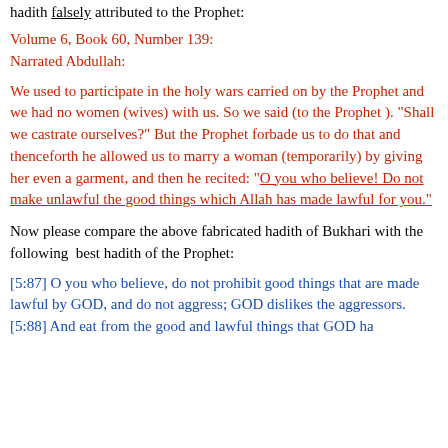hadith falsely attributed to the Prophet:
Volume 6, Book 60, Number 139:
Narrated Abdullah:
We used to participate in the holy wars carried on by the Prophet and we had no women (wives) with us. So we said (to the Prophet ). "Shall we castrate ourselves?" But the Prophet forbade us to do that and thenceforth he allowed us to marry a woman (temporarily) by giving her even a garment, and then he recited: "O you who believe! Do not make unlawful the good things which Allah has made lawful for you."
Now please compare the above fabricated hadith of Bukhari with the following  best hadith of the Prophet:
[5:87] O you who believe, do not prohibit good things that are made lawful by GOD, and do not aggress; GOD dislikes the aggressors.
[5:88] And eat from the good and lawful things that GOD ha...